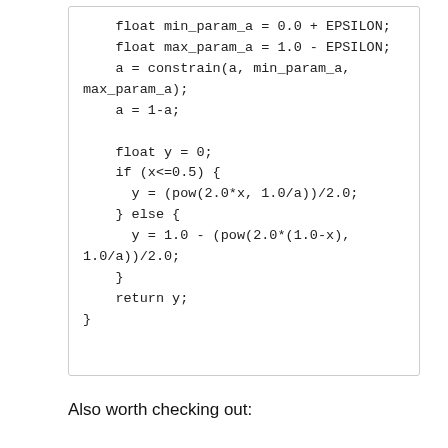float min_param_a = 0.0 + EPSILON;
float max_param_a = 1.0 - EPSILON;
a = constrain(a, min_param_a, max_param_a);
a = 1-a;

float y = 0;
if (x<=0.5) {
  y = (pow(2.0*x, 1.0/a))/2.0;
} else {
  y = 1.0 - (pow(2.0*(1.0-x), 1.0/a))/2.0;
}
return y;
}
Also worth checking out: